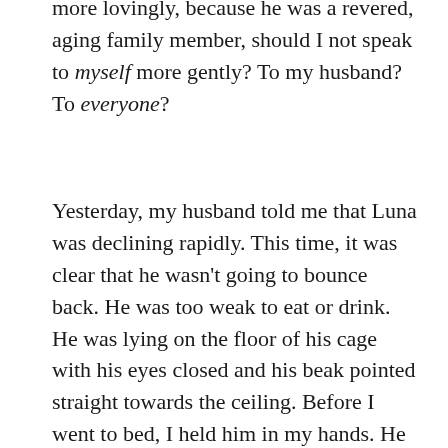more lovingly, because he was a revered, aging family member, should I not speak to myself more gently? To my husband? To everyone?
Yesterday, my husband told me that Luna was declining rapidly. This time, it was clear that he wasn't going to bounce back. He was too weak to eat or drink. He was lying on the floor of his cage with his eyes closed and his beak pointed straight towards the ceiling. Before I went to bed, I held him in my hands. He weighed next to nothing. I told him that it was okay if he wanted to go, that we would miss him, but that we didn't want him to continue to suffer. I whispered that in Heaven he would be able to fly again and that we would join him there some day.